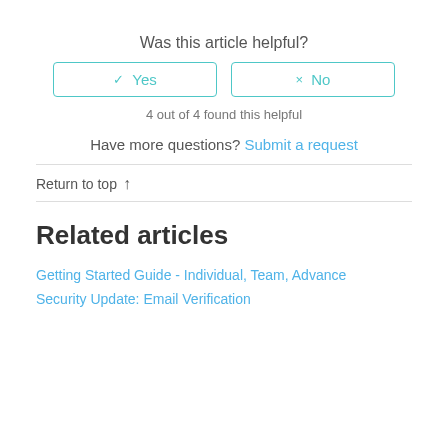Was this article helpful?
✓ Yes   × No
4 out of 4 found this helpful
Have more questions? Submit a request
Return to top ↑
Related articles
Getting Started Guide - Individual, Team, Advance
Security Update: Email Verification